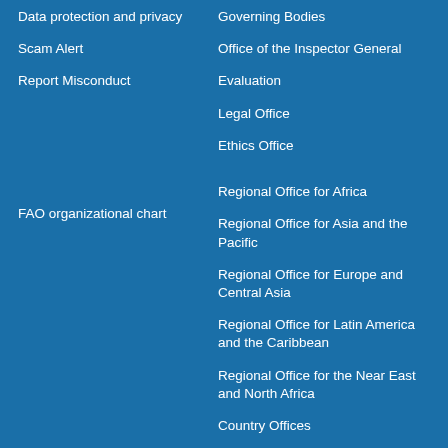Data protection and privacy
Scam Alert
Report Misconduct
Governing Bodies
Office of the Inspector General
Evaluation
Legal Office
Ethics Office
FAO organizational chart
Regional Office for Africa
Regional Office for Asia and the Pacific
Regional Office for Europe and Central Asia
Regional Office for Latin America and the Caribbean
Regional Office for the Near East and North Africa
Country Offices
Follow us on
[Figure (infographic): Row of social media icons: Facebook (blue circle), Flickr (white circle with pink/blue dots), Instagram (brown circle), LinkedIn (dark circle), RSS (orange circle), SoundCloud (orange circle), Twitter (light blue circle), Weibo (yellow circle), YouTube (yellow/red circle), TikTok (black circle)]